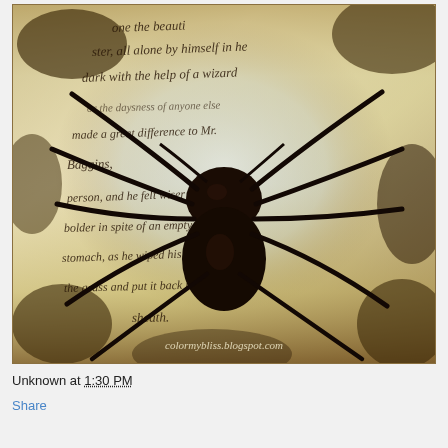[Figure (photo): A large dark spider silhouette overlaid on a background of aged, yellowed paper with cursive handwritten text. The handwriting appears to be from a literary work (resembling a Tolkien passage mentioning 'Baggins'). The paper has a distressed, brownish, vintage look. A watermark reads 'colormybliss.blogspot.com' at the bottom of the image.]
Unknown at 1:30 PM
Share